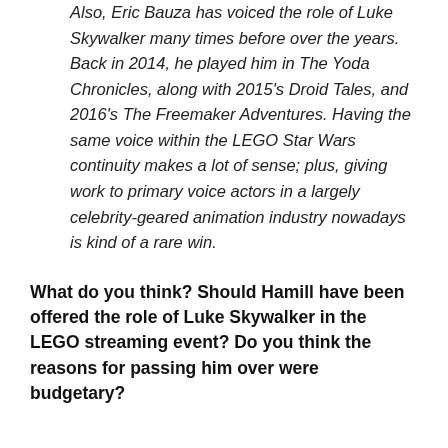Also, Eric Bauza has voiced the role of Luke Skywalker many times before over the years. Back in 2014, he played him in The Yoda Chronicles, along with 2015's Droid Tales, and 2016's The Freemaker Adventures. Having the same voice within the LEGO Star Wars continuity makes a lot of sense; plus, giving work to primary voice actors in a largely celebrity-geared animation industry nowadays is kind of a rare win.
What do you think? Should Hamill have been offered the role of Luke Skywalker in the LEGO streaming event? Do you think the reasons for passing him over were budgetary?